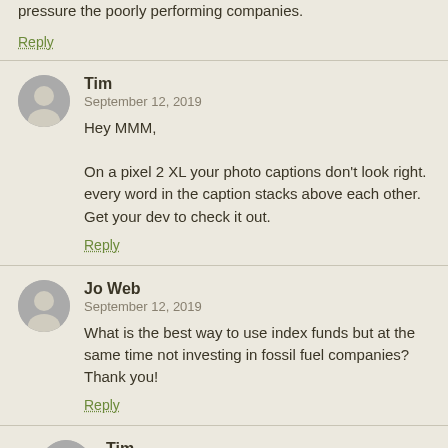pressure the poorly performing companies.
Reply
Tim
September 12, 2019
Hey MMM,

On a pixel 2 XL your photo captions don't look right. every word in the caption stacks above each other. Get your dev to check it out.
Reply
Jo Web
September 12, 2019
What is the best way to use index funds but at the same time not investing in fossil fuel companies? Thank you!
Reply
Tim
September 17, 2019